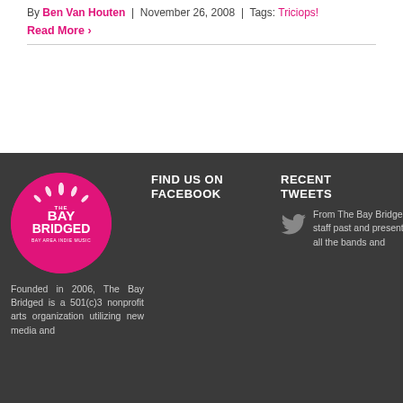By Ben Van Houten | November 26, 2008 | Tags: Triciops!
Read More >
[Figure (logo): The Bay Bridged circular pink logo with text 'THE BAY BRIDGED BAY AREA INDIE MUSIC']
Founded in 2006, The Bay Bridged is a 501(c)3 nonprofit arts organization utilizing new media and
FIND US ON FACEBOOK
RECENT TWEETS
From The Bay Bridged, staff past and present, to all the bands and